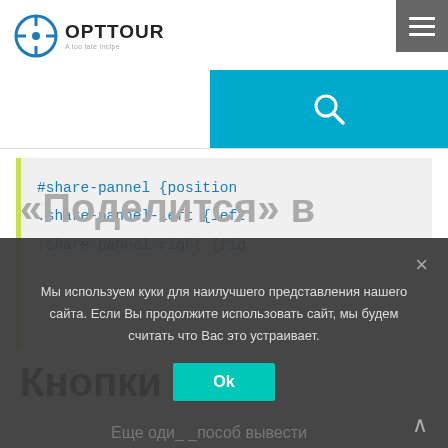[Figure (logo): OPTTOUR logo with blue crosshair icon and tagline 'A too late Incipe']
[Figure (screenshot): Blue search bar with magnifying glass icon on the right side of the header]
[Figure (screenshot): Dark gray hamburger menu button (three horizontal lines) in top-right corner]
#share-pannel {position
.share-pannel-left {left
.share-pannel-right {rig
Кнопки
«Поделится» в
Мы используем куки для наилучшего представления нашего сайта. Если Вы продолжите использовать сайт, мы будем считать что Вас это устраивает.
Ok
Еще оди_ _пособ вывести